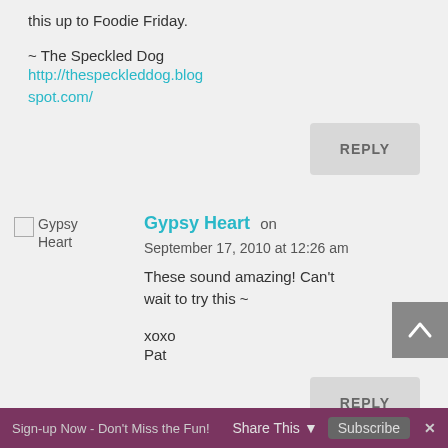this up to Foodie Friday.
~ The Speckled Dog
http://thespeckleddog.blogspot.com/
REPLY
Gypsy Heart on September 17, 2010 at 12:26 am
These sound amazing! Can’t wait to try this ~

xoxo
Pat
REPLY
Sign-up Now - Don't Miss the Fun!  Share This  Subscribe  ×